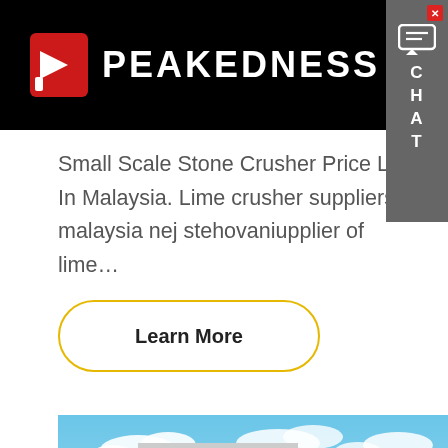PEAKEDNESS
Small Scale Stone Crusher Price List In Malaysia. Lime crusher suppliers in malaysia nej stehovaniupplier of lime…
Learn More
[Figure (photo): Exterior of a large industrial building with signage, blue sky with clouds in the background]
Hello, glad to talk with you!Which equipment you are looking for?Kindly leave your name and email add, we will reply you with detail.